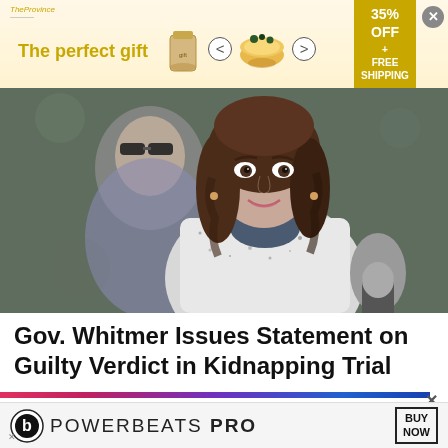[Figure (other): Advertisement banner: 'The perfect gift' with canister and bowl images, 35% OFF + FREE SHIPPING offer, close button]
[Figure (photo): Governor Gretchen Whitmer speaking at a podium with a microphone, wearing a speckled white jacket, with a man in sunglasses visible behind her]
Gov. Whitmer Issues Statement on Guilty Verdict in Kidnapping Trial
[Figure (other): Colored gradient divider bar (pink to blue) with close X button]
[Figure (other): Beats Powerbeats Pro advertisement banner with BUY NOW button]